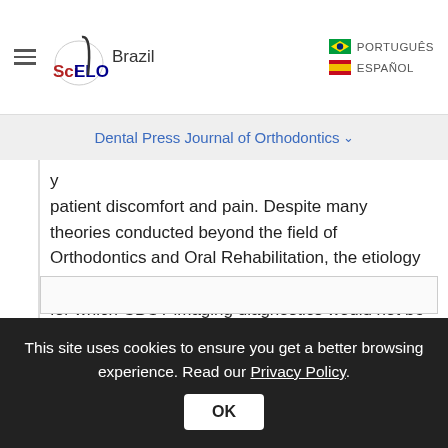[Figure (logo): SciELO Brazil logo with hamburger menu icon on left and language options (PORTUGUÊS, ESPAÑOL) on right]
Dental Press Journal of Orthodontics ▾
patient discomfort and pain. Despite many theories conducted beyond the field of Orthodontics and Oral Rehabilitation, the etiology of TMD involves facial myalgias and neuralgias for which CBCT imaging diagnostics would not be indicated. A clinical diagnosis using the parameters defined by the Diagnostic Criteria for TMD (RDC/TMD criteria)2 is indicated before patients are referred for Cone-Beam CT ( Fig 3).3
This site uses cookies to ensure you get a better browsing experience. Read our Privacy Policy.